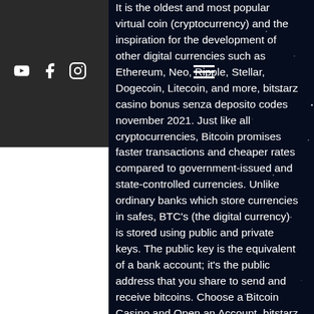[Figure (screenshot): Dark starfield background with a left sidebar showing social media icons (YouTube, Facebook, Instagram) on a dark gray panel, and a hamburger menu icon. The main content area has a black background with white text about Bitcoin cryptocurrency.]
It is the oldest and most popular virtual coin (cryptocurrency) and the inspiration for the development of other digital currencies such as Ethereum, Neo, Ripple, Stellar, Dogecoin, Litecoin, and more, bitstarz casino bonus senza deposito codes november 2021. Just like all cryptocurrencies, Bitcoin promises faster transactions and cheaper rates compared to government-issued and state-controlled currencies. Unlike ordinary banks which store currencies in safes, BTC's (the digital currency) is stored using public and private keys. The public key is the equivalent of a bank account; it's the public address that you share to send and receive bitcoins. Choose a Bitcoin Casino and Open an Account, bitstarz casino bonus senza deposito codes november 2021. With Bitcoin Aliens, you can earn cryptocurrencies such as bitcoin, Bitcoin Cash, and Litecoin from your phone through playing games, bitstarz